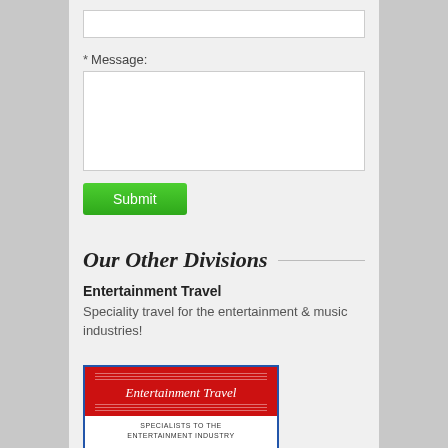[Figure (screenshot): White input text box at top of form]
* Message:
[Figure (screenshot): White textarea input box for message]
[Figure (screenshot): Green Submit button]
Our Other Divisions
Entertainment Travel
Speciality travel for the entertainment & music industries!
[Figure (logo): Entertainment Travel logo: red banner with italic text 'Entertainment Travel', white section below reading 'SPECIALISTS TO THE ENTERTAINMENT INDUSTRY', blue border]
Destination Sales